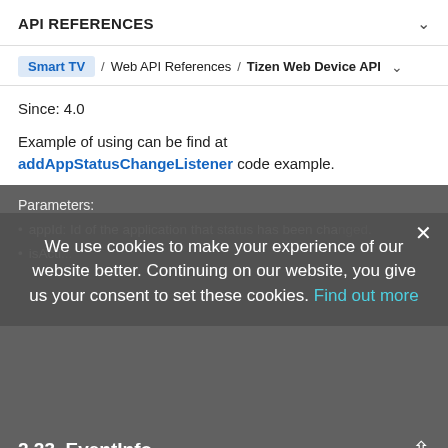API REFERENCES
Smart TV / Web API References / Tizen Web Device API
Since: 4.0
Example of using can be find at addAppStatusChangeListener code example.
Parameters:
appId: Id of the application that status has been changed.
isActi...
We use cookies to make your experience of our website better. Continuing on our website, you give us your consent to set these cookies. Find out more
2.23. EventInfo
The EventInfo dictionary identifies an event with